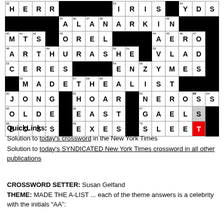[Figure (other): Partial crossword puzzle grid showing filled-in solution letters with clue numbers. Contains black squares, white letter squares, one red square (70-T), and gray squares (63-S, 67-S). Letters visible include HERR, IRIS, YDS, ALANARKIN, MTS, OREL, AERO, ARTHURASHE, VLAD, CERES, ENZYMES, MADETHEALIST, JONG, HOAR, NEROS, OLDE, EAST, GAELS, BOSS, EXES, SLEET.]
QuickLinks:
Solution to today's crossword in the New York Times
Solution to today's SYNDICATED New York Times crossword in all other publications
CROSSWORD SETTER: Susan Gelfand
THEME: MADE THE A-LIST ... each of the theme answers is a celebrity with the initials "AA":